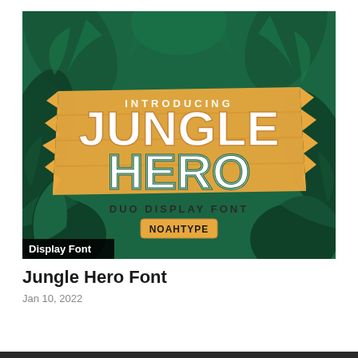[Figure (illustration): Promotional image for Jungle Hero Font by Noahtype. Dark green jungle background with tropical leaves. Orange/tan wooden board in the center with large white bold lettering reading JUNGLE HERO. Above reads INTRODUCING in white caps. Below reads DUO DISPLAY FONT. A small orange badge reads NOAHTYPE. Bottom-left corner has a black label reading Display Font.]
Jungle Hero Font
Jan 10, 2022